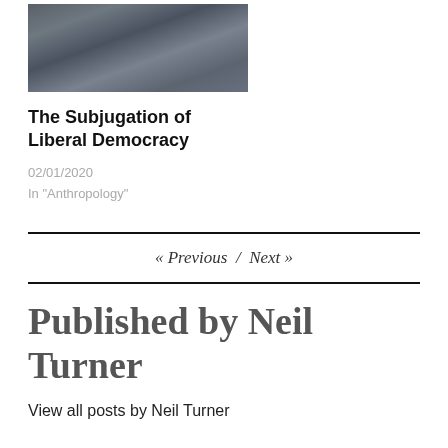[Figure (photo): Crowd of protesters at a public demonstration, with people holding signs and banners]
The Subjugation of Liberal Democracy
02/01/2020
In "Anthropology"
« Previous  /  Next »
Published by Neil Turner
View all posts by Neil Turner